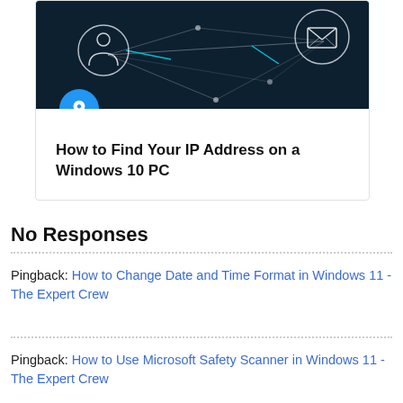[Figure (illustration): Dark teal/navy background with glowing network connection lines and icons: a person silhouette in a circle (top left), an envelope/email icon in a circle (top right), connected by white lines suggesting a network or communication diagram.]
How to Find Your IP Address on a Windows 10 PC
No Responses
Pingback: How to Change Date and Time Format in Windows 11 - The Expert Crew
Pingback: How to Use Microsoft Safety Scanner in Windows 11 - The Expert Crew